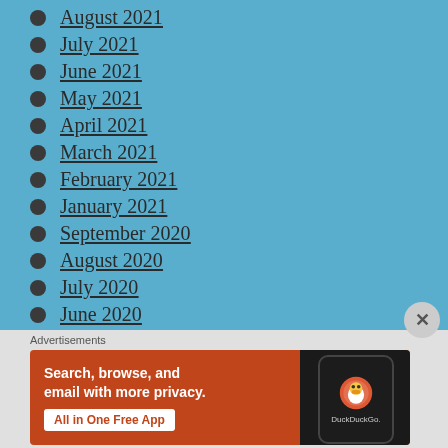August 2021
July 2021
June 2021
May 2021
April 2021
March 2021
February 2021
January 2021
September 2020
August 2020
July 2020
June 2020
[Figure (screenshot): DuckDuckGo advertisement banner with orange background. Text reads: Search, browse, and email with more privacy. All in One Free App. Shows a phone with DuckDuckGo app icon on dark background.]